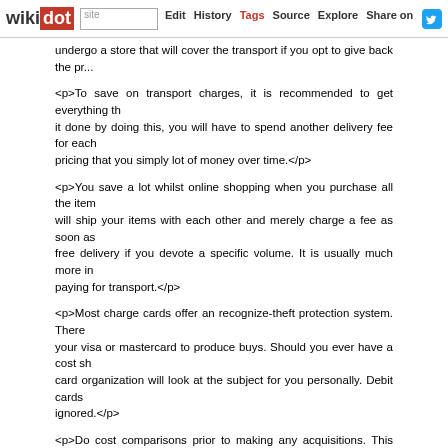wikidot | site Edit History Tags Source Explore Share on [Twitter]
<p>undergo a store that will cover the transport if you opt to give back the pr...
<p>To save on transport charges, it is recommended to get everything th... it done by doing this, you will have to spend another delivery fee for each... pricing that you simply lot of money over time.</p>
<p>You save a lot whilst online shopping when you purchase all the item... will ship your items with each other and merely charge a fee as soon as... free delivery if you devote a specific volume. It is usually much more in... paying for transport.</p>
<p>Most charge cards offer an recognize-theft protection system. There... your visa or mastercard to produce buys. Should you ever have a cost sh... card organization will look at the subject for you personally. Debit cards... ignored.</p>
<p>Do cost comparisons prior to making any acquisitions. This really is... shopping makes it rather easy. All you should do is a fast online hunt f... there's a much better cost available, you'll typically know quite swiftly.</p>
<p>You should be able to accessibility your visa or mastercard statement... one or more times every week, particularly if order online a great deal. Wh... understand, it will be possible to dispute it without delay. Even so, if you... possess recourse.</p>
<p>Try out performing your shopping online on Tuesdays. History has... submit a selection of their best sales on Tuesday. What Whether or not Y... Our On-line Shopping Suggestions Will Help would have compensated... away from on Tuesday. They are also very likely to publish new goods on